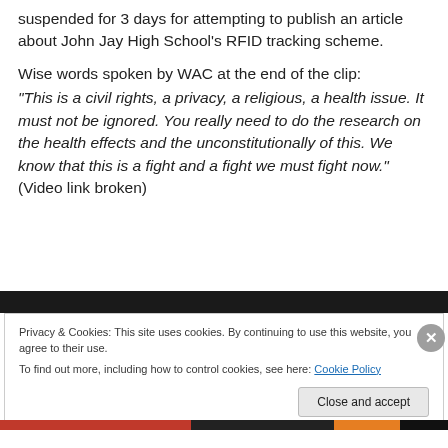suspended for 3 days for attempting to publish an article about John Jay High School's RFID tracking scheme.
Wise words spoken by WAC at the end of the clip: “This is a civil rights, a privacy, a religious, a health issue. It must not be ignored. You really need to do the research on the health effects and the unconstitutionally of this. We know that this is a fight and a fight we must fight now.”    (Video link broken)
[Figure (screenshot): Cookie consent banner with dark header bar, privacy notice text, Cookie Policy link, Close and accept button, and bottom navigation bar with colored accent strips.]